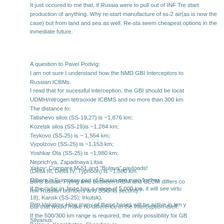It just occured to me that, if Russia were to pull out of INF Tre start production of anything. Why re-start manufacture of ss-2 air(as is now the case) but from land and sea as well. Re-sta seem cheapest options in the inmediate future.
A question to Pavel Podvig:
I am not sure I understand how the NMD GBI Interceptors to Russian ICBMs.
I read that for sucessful interception, the GBI should be locat UDMH/nitrogen tetraoxide ICBMS and no more than 300 km The distance to:
Tatishevo silos (SS-19,27) is ~1,876 km;
Kozelsk silos (SS-19)is ~1,284 km;
Teykovo (SS-25) is ~ 1,554 km;
Vypolzovo (SS-25) is ~1,153 km;
Yoshkar Ola (SS-25) is ~1,980 km;
Neprich'ya, Zapadnaya Litsa
(Delta III, Delta IV, Typhoon) is ~1,880 km.
Others in European part of Russia are even further.
If the radar in Jince has a range of 5,000 km, it will see virtu 18); Kansk (SS-25); Irkutsk).
But that would make no difference in the interception itself.
If the 500/300 km range is required, the only possibility for GB Belarus, Kazakhstan, Skandinavia.
Yakov: Compare M-51 and "Bulava" payloads!
Boris Buliak: Flying time between IRBM and GLCM differs co few Russian bombers and SSGNs security?
Petr Vakatov: How many of these bases will be active in ten y
Silvanus: